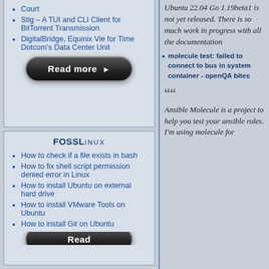Court
Stig – A TUI and CLI Client for BitTorrent Transmission
DigitalBridge, Equinix Vie for Time Dotcom's Data Center Unit
[Figure (other): Read more button - dark rounded pill button with white bold text and arrow]
FOSSLinux
How to check if a file exists in bash
How to fix shell script permission denied error in Linux
How to install Ubuntu on external hard drive
How to install VMware Tools on Ubuntu
How to install Git on Ubuntu
Ubuntu 22.04 Go 1.19beta1 is not yet released. There is so much work in progress with all the documentation
molecule test: failed to connect to bus in system container - openQA bites
Ansible Molecule is a project to help you test your ansible roles. I'm using molecule for